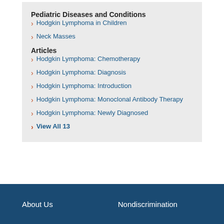Pediatric Diseases and Conditions
Hodgkin Lymphoma in Children
Neck Masses
Articles
Hodgkin Lymphoma: Chemotherapy
Hodgkin Lymphoma: Diagnosis
Hodgkin Lymphoma: Introduction
Hodgkin Lymphoma: Monoclonal Antibody Therapy
Hodgkin Lymphoma: Newly Diagnosed
View All 13
About Us   Nondiscrimination